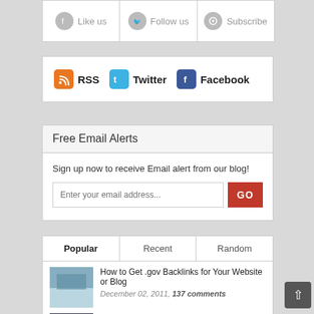[Figure (infographic): Social sharing bar with Facebook Like us, Twitter Follow us, and RSS Subscribe icons]
[Figure (infographic): RSS, Twitter, and Facebook icon links in a white box]
Free Email Alerts
Sign up now to receive Email alert from our blog!
[Figure (infographic): Email input field with GO button]
Popular | Recent | Random
How to Get .gov Backlinks for Your Website or Blog
December 02, 2011, 137 comments
Building Backlinks with Twitter